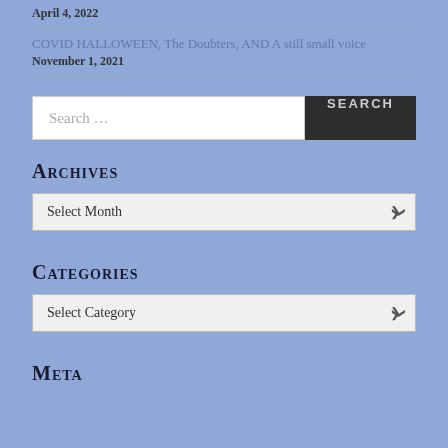April 4, 2022
COVID HALLOWEEN, The Doubters, AND A still small voice
November 1, 2021
Search ...
ARCHIVES
Select Month
CATEGORIES
Select Category
META